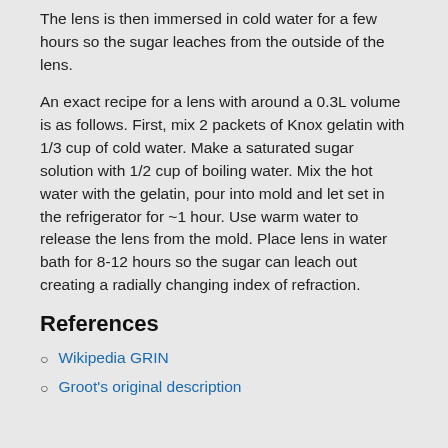The lens is then immersed in cold water for a few hours so the sugar leaches from the outside of the lens.
An exact recipe for a lens with around a 0.3L volume is as follows. First, mix 2 packets of Knox gelatin with 1/3 cup of cold water. Make a saturated sugar solution with 1/2 cup of boiling water. Mix the hot water with the gelatin, pour into mold and let set in the refrigerator for ~1 hour. Use warm water to release the lens from the mold. Place lens in water bath for 8-12 hours so the sugar can leach out creating a radially changing index of refraction.
References
Wikipedia GRIN
Groot's original description